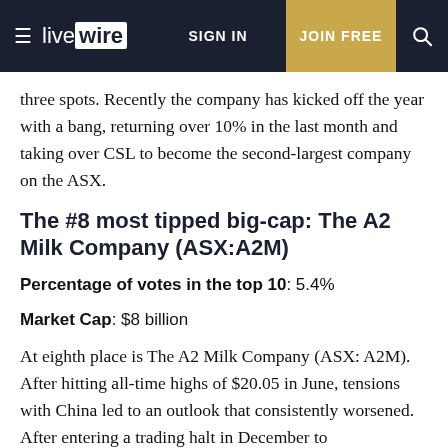live wire | SIGN IN | JOIN FREE
three spots. Recently the company has kicked off the year with a bang, returning over 10% in the last month and taking over CSL to become the second-largest company on the ASX.
The #8 most tipped big-cap: The A2 Milk Company (ASX:A2M)
Percentage of votes in the top 10: 5.4%
Market Cap: $8 billion
At eighth place is The A2 Milk Company (ASX: A2M). After hitting all-time highs of $20.05 in June, tensions with China led to an outlook that consistently worsened. After entering a trading halt in December to